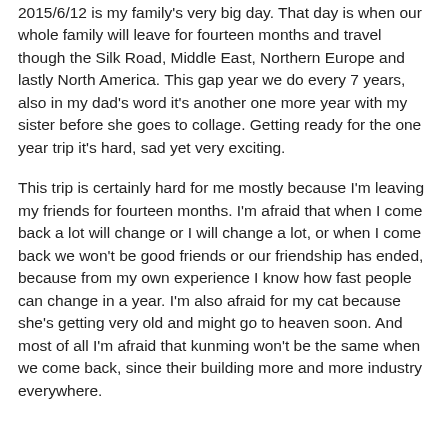2015/6/12 is my family's very big day. That day is when our whole family will leave for fourteen months and travel though the Silk Road, Middle East, Northern Europe and lastly North America. This gap year we do every 7 years, also in my dad's word it's another one more year with my sister before she goes to collage. Getting ready for the one year trip it's hard, sad yet very exciting.
This trip is certainly hard for me mostly because I'm leaving my friends for fourteen months. I'm afraid that when I come back a lot will change or I will change a lot, or when I come back we won't be good friends or our friendship has ended, because from my own experience I know how fast people can change in a year. I'm also afraid for my cat because she's getting very old and might go to heaven soon. And most of all I'm afraid that kunming won't be the same when we come back, since their building more and more industry everywhere.